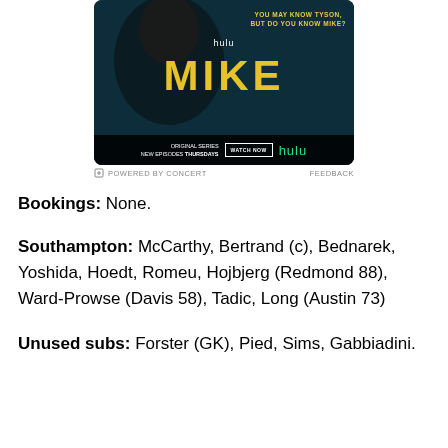[Figure (photo): Hulu advertisement for the original series 'MIKE' featuring a close-up of a person with mouth open, large yellow MIKE text, tagline 'YOU MAY KNOW TYSON, BUT DO YOU KNOW MIKE?', Hulu logo, 'ORIGINAL SERIES NEW EPISODES THURSDAYS', and a WATCH NOW button.]
POWERED BY CONCERT   FEEDBACK
Bookings: None.
Southampton: McCarthy, Bertrand (c), Bednarek, Yoshida, Hoedt, Romeu, Hojbjerg (Redmond 88), Ward-Prowse (Davis 58), Tadic, Long (Austin 73)
Unused subs: Forster (GK), Pied, Sims, Gabbiadini.